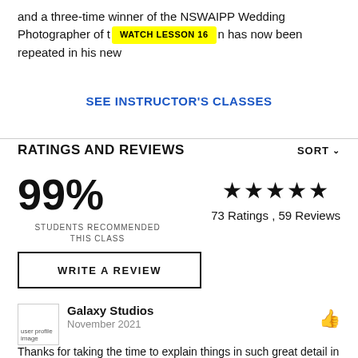and a three-time winner of the NSWAIPP Wedding Photographer of t[WATCH LESSON 16]n has now been repeated in his new
SEE INSTRUCTOR'S CLASSES
RATINGS AND REVIEWS
99%
STUDENTS RECOMMENDED THIS CLASS
★★★★★ 73 Ratings , 59 Reviews
WRITE A REVIEW
Galaxy Studios November 2021
Thanks for taking the time to explain things in such great detail in a way that is easy to understand.